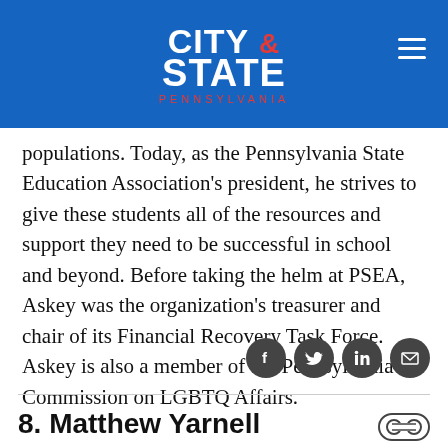CITY & STATE PENNSYLVANIA
populations. Today, as the Pennsylvania State Education Association's president, he strives to give these students all of the resources and support they need to be successful in school and beyond. Before taking the helm at PSEA, Askey was the organization's treasurer and chair of its Financial Recovery Task Force. Askey is also a member of the Pennsylvania Commission on LGBTQ Affairs.
[Figure (other): Social sharing icons: Facebook, Twitter, LinkedIn, Email]
8. Matthew Yarnell